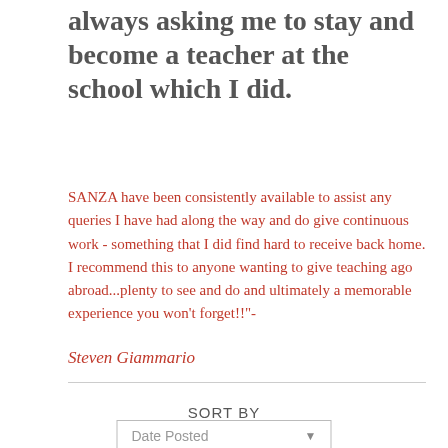always asking me to stay and become a teacher at the school which I did.
SANZA have been consistently available to assist any queries I have had along the way and do give continuous work - something that I did find hard to receive back home. I recommend this to anyone wanting to give teaching ago abroad...plenty to see and do and ultimately a memorable experience you won't forget!!"-
Steven Giammario
SORT BY
Date Posted